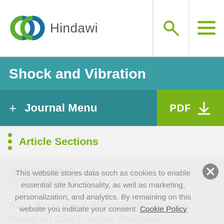Hindawi
Shock and Vibration
+ Journal Menu | PDF
Article Sections
Special Issue
Rock Burst Prevention-Control Methods Based on Coal Fracture Structure
This website stores data such as cookies to enable essential site functionality, as well as marketing, personalization, and analytics. By remaining on this website you indicate your consent. Cookie Policy